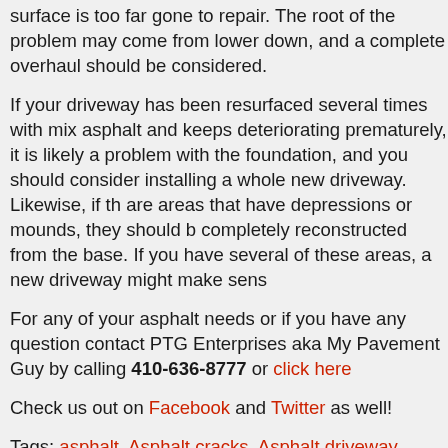surface is too far gone to repair. The root of the problem may come from lower down, and a complete overhaul should be considered.
If your driveway has been resurfaced several times with mix asphalt and keeps deteriorating prematurely, it is likely a problem with the foundation, and you should consider installing a whole new driveway. Likewise, if there are areas that have depressions or mounds, they should be completely reconstructed from the base. If you have several of these areas, a new driveway might make sense.
For any of your asphalt needs or if you have any questions, contact PTG Enterprises aka My Pavement Guy by calling 410-636-8777 or click here
Check us out on Facebook and Twitter as well!
Tags: asphalt, Asphalt cracks, Asphalt driveway, Asphalt installation, Asphalt Maintenance, asphalt maryland, Asphalt Pavement, Asphalt repair, Cost, distress, driveway, driveway repair, expand, fill cracks, liquid asphalt,